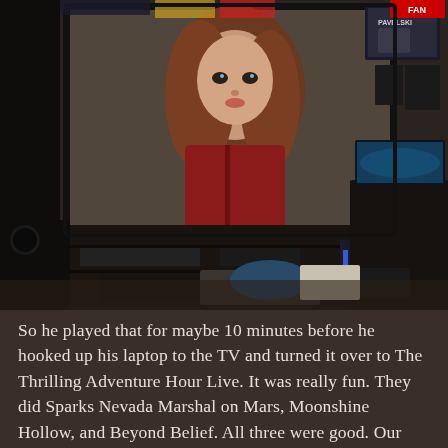[Figure (photo): A gaming room with a large TV displaying a video game character (Aerith from Final Fantasy VII Remake) on screen. Below the TV is a black entertainment center with gaming equipment, consoles, and shelving. Posters and merchandise are visible on the wall to the right, including a Pavelski hockey poster. A fish tank with blue lighting is visible on the right side.]
So he played that for maybe 10 minutes before he hooked up his laptop to the TV and turned it over to The Thrilling Adventure Hour Live. It was really fun. They did Sparks Nevada Marshal on Mars, Moonshine Hollow, and Beyond Belief. All three were good. Our dinner showed up (A...) and ...